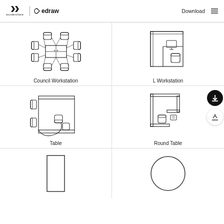Wondershare Edraw | Download
[Figure (illustration): Top-view CAD floor plan symbol of a Council Workstation: four desks arranged in a cross/cluster pattern with chairs on each side]
Council Workstation
[Figure (illustration): Top-view CAD floor plan symbol of an L Workstation: L-shaped desk with a monitor and chair]
L Workstation
[Figure (illustration): Top-view CAD floor plan symbol of a Table: rectangular table with multiple chairs]
Table
[Figure (illustration): Top-view CAD floor plan symbol of a Round Table: curved/L-shaped desk with chair]
Round Table
[Figure (illustration): Top-view CAD floor plan symbol: tall narrow rectangle representing a door or panel]
[Figure (illustration): Top-view CAD floor plan symbol: large circle representing a round table]